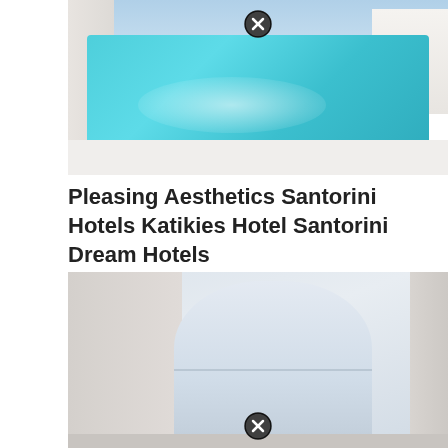[Figure (photo): Outdoor pool with turquoise water at a white-washed Santorini hotel (Katikies). White walls and lounge cushions surround the narrow rectangular pool. A close button (X in circle) appears at the top center.]
Pleasing Aesthetics Santorini Hotels Katikies Hotel Santorini Dream Hotels
[Figure (photo): Interior of a white-washed Santorini cave hotel room featuring a large rounded arch window/opening revealing a pale blue sky and sea view. White curved walls frame the arch. A close button (X in circle) appears at the bottom center.]